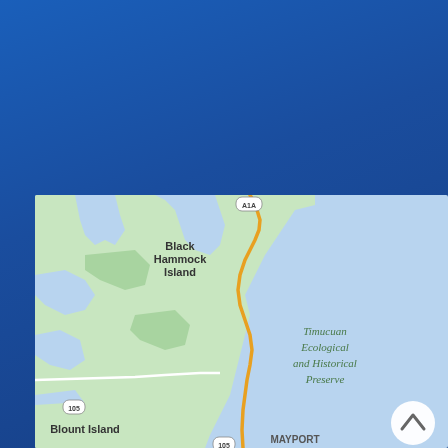[Figure (map): Google Maps screenshot showing the coastal area near Jacksonville, Florida. Shows Black Hammock Island in the upper-left area, Timucuan Ecological and Historical Preserve in the center, route A1A running along the coast (yellow road), Blount Island in the lower-left with route 105, and MAYPORT label at the bottom. The right side shows the Atlantic Ocean in light blue. A scroll-up button (chevron up icon) appears in the lower-right corner of the map.]